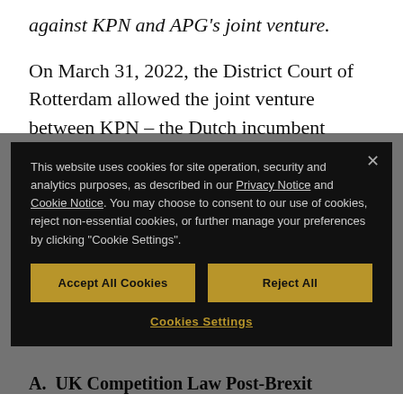against KPN and APG's joint venture.
On March 31, 2022, the District Court of Rotterdam allowed the joint venture between KPN – the Dutch incumbent telecommunications company – and APG –
[Figure (screenshot): Cookie consent modal overlay with dark background. Contains text about cookie usage referencing Privacy Notice and Cookie Notice links, two gold buttons labeled 'Accept All Cookies' and 'Reject All', and a 'Cookies Settings' link at the bottom. A close (×) button is in the top right.]
A.  UK Competition Law Post-Brexit